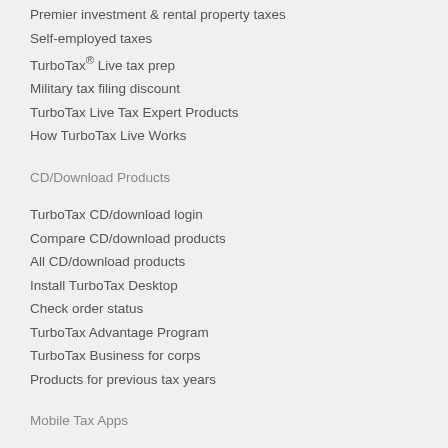Premier investment & rental property taxes
Self-employed taxes
TurboTax® Live tax prep
Military tax filing discount
TurboTax Live Tax Expert Products
How TurboTax Live Works
CD/Download Products
TurboTax CD/download login
Compare CD/download products
All CD/download products
Install TurboTax Desktop
Check order status
TurboTax Advantage Program
TurboTax Business for corps
Products for previous tax years
Mobile Tax Apps
All TurboTax mobile apps
Official TurboTax mobile app